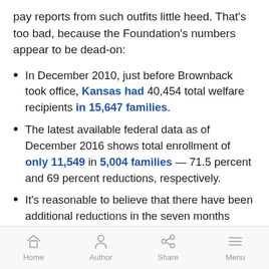pay reports from such outfits little heed. That's too bad, because the Foundation's numbers appear to be dead-on:
In December 2010, just before Brownback took office, Kansas had 40,454 total welfare recipients in 15,647 families.
The latest available federal data as of December 2016 shows total enrollment of only 11,549 in 5,004 families — 71.5 percent and 69 percent reductions, respectively.
It's reasonable to believe that there have been additional reductions in the seven months which are not yet visible in the federal data. If the reductions have [continues]
Home  Author  Share  Menu